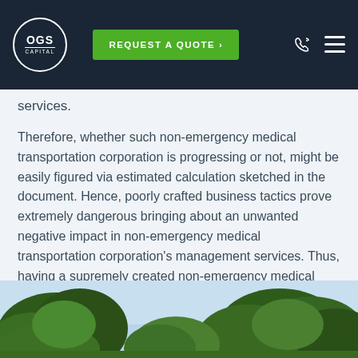OGS Capital | REQUEST A QUOTE
services.
Therefore, whether such non-emergency medical transportation corporation is progressing or not, might be easily figured via estimated calculation sketched in the document. Hence, poorly crafted business tactics prove extremely dangerous bringing about an unwanted negative impact in non-emergency medical transportation corporation's management services. Thus, having a supremely created non-emergency medical transportation corporation services business strategy is essential & cannot be ignored.
[Figure (photo): Outdoor photo showing green trees and sky, partially visible at bottom of page]